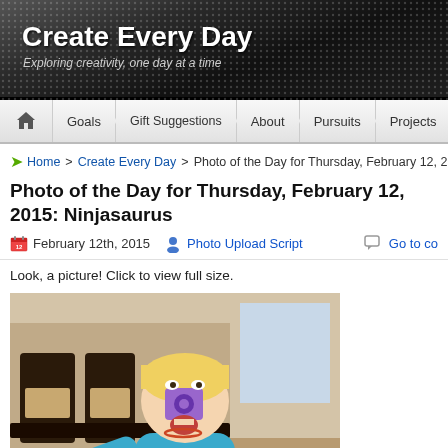Create Every Day — Exploring creativity, one day at a time
Goals | Gift Suggestions | About | Pursuits | Projects
Home > Create Every Day > Photo of the Day for Thursday, February 12, 201…
Photo of the Day for Thursday, February 12, 2015: Ninjasaurus
February 12th, 2015  Photo Upload Script  Go to co…
Look, a picture! Click to view full size.
[Figure (photo): Young blonde child wearing a teal Ninjasaurus t-shirt with a purple block/toy on their face, standing in a dining room]